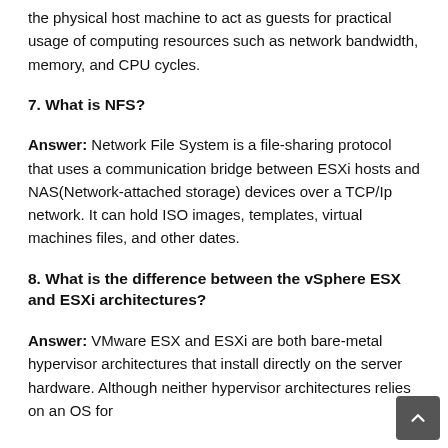the physical host machine to act as guests for practical usage of computing resources such as network bandwidth, memory, and CPU cycles.
7. What is NFS?
Answer: Network File System is a file-sharing protocol that uses a communication bridge between ESXi hosts and NAS(Network-attached storage) devices over a TCP/Ip network. It can hold ISO images, templates, virtual machines files, and other dates.
8. What is the difference between the vSphere ESX and ESXi architectures?
Answer: VMware ESX and ESXi are both bare-metal hypervisor architectures that install directly on the server hardware. Although neither hypervisor architectures relies on an OS for